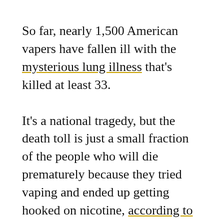So far, nearly 1,500 American vapers have fallen ill with the mysterious lung illness that's killed at least 33.
It's a national tragedy, but the death toll is just a small fraction of the people who will die prematurely because they tried vaping and ended up getting hooked on nicotine, according to the Los Angeles Times.
The LA Times cites 2018 research that determined that some 495,000 non-smoking Americans between the ages of 12 and 29 tried vaping and ultimately became regular cigarette smokers. That's nearly half a million people who, if it weren't for vapes, probably wouldn't have